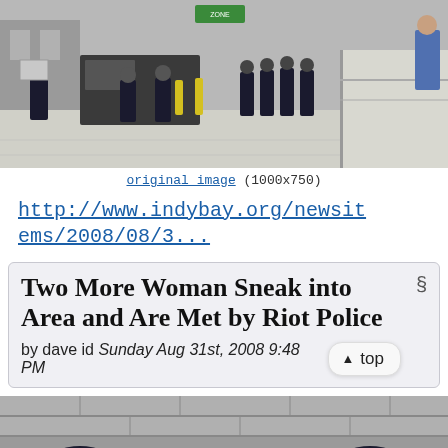[Figure (photo): Police officers in dark uniforms walking in an urban area, carrying riot gear and signs on a street/sidewalk scene.]
original image (1000x750)
http://www.indybay.org/newsitems/2008/08/3...
Two More Woman Sneak into Area and Are Met by Riot Police
by dave id Sunday Aug 31st, 2008 9:48 PM
[Figure (photo): Police officers in helmets standing near stone steps or a wall.]